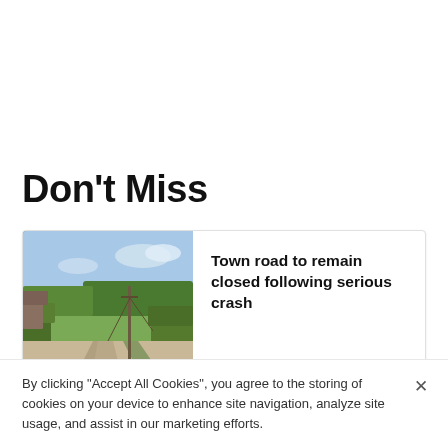Don't Miss
[Figure (photo): Street view photo of a rural road junction with hedges, telegraph pole, and open fields. 'Second' road sign visible in the foreground.]
Town road to remain closed following serious crash
CASEY COOPER-FISKE
By clicking "Accept All Cookies", you agree to the storing of cookies on your device to enhance site navigation, analyze site usage, and assist in our marketing efforts.